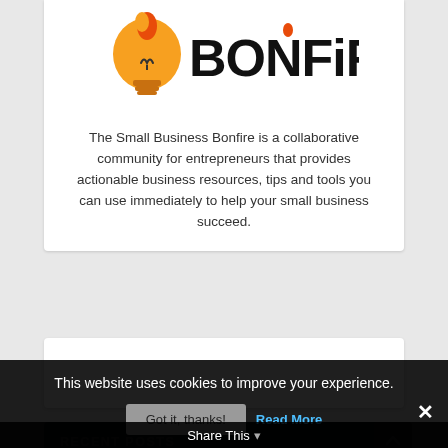[Figure (logo): Small Business Bonfire logo: orange lightbulb with flame on top and 'BONFIRE' text in bold black letters]
The Small Business Bonfire is a collaborative community for entrepreneurs that provides actionable business resources, tips and tools you can use immediately to help your small business succeed.
[Figure (other): Empty white box (advertisement/placeholder area)]
RECENT POSTS
Tips on How to Build and Improve Your Credit S…
This website uses cookies to improve your experience.
Got it, thanks!
Read More
Share This